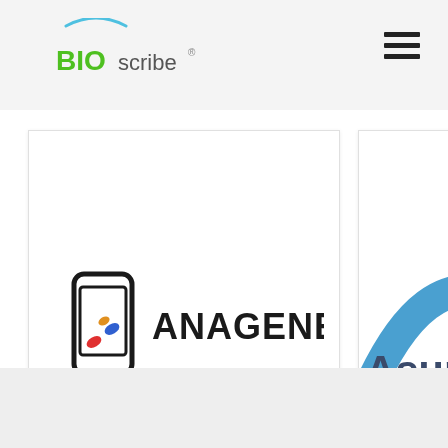[Figure (logo): BIOscribe logo with arc and green BIO text]
[Figure (logo): Hamburger menu icon (three horizontal lines)]
[Figure (logo): Anagenex logo - phone/pill icon with ANAGENEX text]
[Figure (logo): Asura logo partially visible - blue/orange arc with Asura text]
[Figure (illustration): Left arrow navigation chevron]
[Figure (illustration): Right arrow navigation chevron]